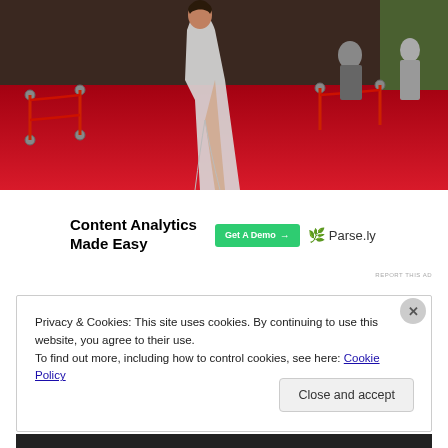[Figure (photo): Red carpet event photo showing a person in a white/silver gown with a high slit, standing on a red carpet with rope barriers and crowd in the background]
[Figure (other): Advertisement banner: 'Content Analytics Made Easy' with a green 'Get A Demo →' button and Parse.ly logo]
REPORT THIS AD
Privacy & Cookies: This site uses cookies. By continuing to use this website, you agree to their use.
To find out more, including how to control cookies, see here: Cookie Policy
Close and accept